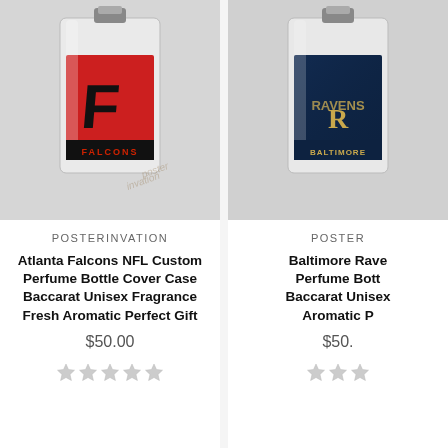[Figure (photo): Atlanta Falcons NFL perfume bottle with red label featuring Falcons logo]
POSTERINVATION
Atlanta Falcons NFL Custom Perfume Bottle Cover Case Baccarat Unisex Fragrance Fresh Aromatic Perfect Gift
$50.00
[Figure (photo): Baltimore Ravens NFL perfume bottle with dark label featuring Ravens logo (partially cropped)]
POSTER
Baltimore Rave... Perfume Bott... Baccarat Unisex ... Aromatic P...
$50...